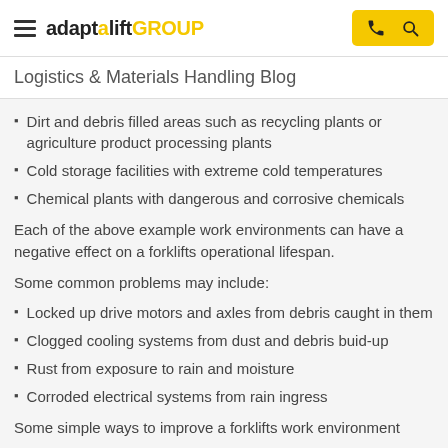adaptalift GROUP
Logistics & Materials Handling Blog
Dirt and debris filled areas such as recycling plants or agriculture product processing plants
Cold storage facilities with extreme cold temperatures
Chemical plants with dangerous and corrosive chemicals
Each of the above example work environments can have a negative effect on a forklifts operational lifespan.
Some common problems may include:
Locked up drive motors and axles from debris caught in them
Clogged cooling systems from dust and debris buid-up
Rust from exposure to rain and moisture
Corroded electrical systems from rain ingress
Some simple ways to improve a forklifts work environment